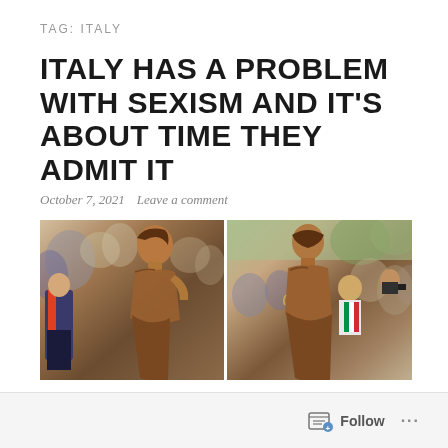TAG: ITALY
ITALY HAS A PROBLEM WITH SEXISM AND IT'S ABOUT TIME THEY ADMIT IT
October 7, 2021   Leave a comment
[Figure (photo): Two side-by-side photos of a bronze female statue being unveiled at a public event in Italy, with a crowd and officials in the background.]
Follow